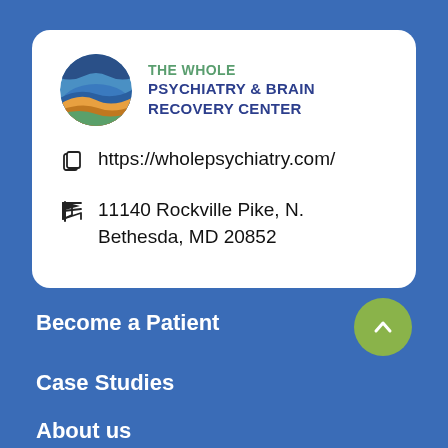[Figure (logo): The Whole Psychiatry & Brain Recovery Center logo — circular logo with blue, green, and orange/yellow layered wave design]
THE WHOLE PSYCHIATRY & BRAIN RECOVERY CENTER
https://wholepsychiatry.com/
11140 Rockville Pike, N. Bethesda, MD 20852
Become a Patient
Case Studies
About us